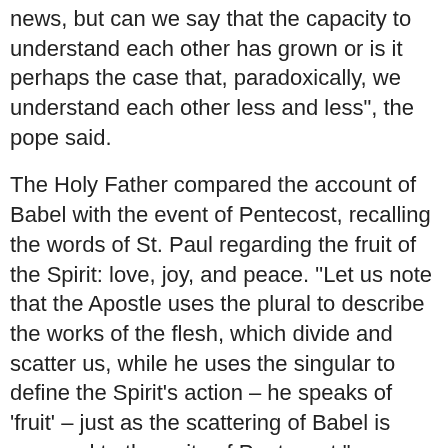news, but can we say that the capacity to understand each other has grown or is it perhaps the case that, paradoxically, we understand each other less and less", the pope said.
The Holy Father compared the account of Babel with the event of Pentecost, recalling the words of St. Paul regarding the fruit of the Spirit: love, joy, and peace. "Let us note that the Apostle uses the plural to describe the works of the flesh, which divide and scatter us, while he uses the singular to define the Spirit’s action – he speaks of ‘fruit’ – just as the scattering of Babel is opposed to the unity of Pentecost."
The 85 year old pontiff, concluded his homily by inviting the faithful to live in the spirit of unity and truth. He also exhorted them to pray to the Spirit to ‘enlighten us and lead us to overcome the fascination with following our